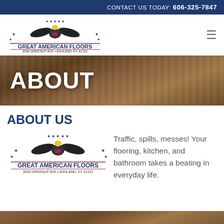CONTACT US TODAY: 606-325-7847
[Figure (logo): Great American Floors logo with eagle, stars, bold text GREAT AMERICAN FLOORS, address 2040 GREENUP AVE • ASHLAND, KY 41101]
ABOUT
ABOUT US
[Figure (logo): Great American Floors logo with eagle, stars, bold text GREAT AMERICAN FLOORS, address 2040 GREENUP AVE • ASHLAND, KY 41101]
Traffic, spills, messes! Your flooring, kitchen, and bathroom takes a beating in everyday life.